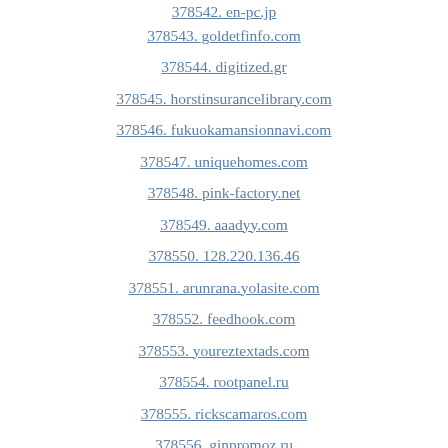378542. en-pc.jp
378543. goldetfinfo.com
378544. digitized.gr
378545. horstinsurancelibrary.com
378546. fukuokamansionnavi.com
378547. uniquehomes.com
378548. pink-factory.net
378549. aaadyy.com
378550. 128.220.136.46
378551. arunrana.yolasite.com
378552. feedhook.com
378553. youreztextads.com
378554. rootpanel.ru
378555. rickscamaros.com
378556. ginpromoz.ru